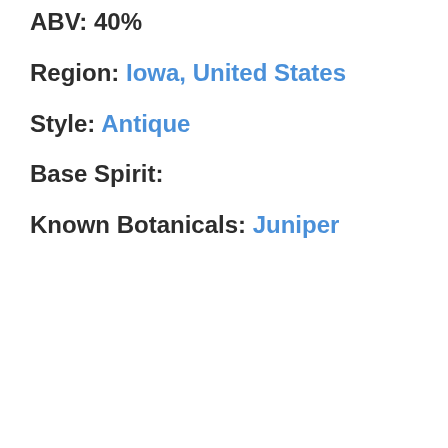ABV: 40%
Region: Iowa, United States
Style: Antique
Base Spirit:
Known Botanicals: Juniper